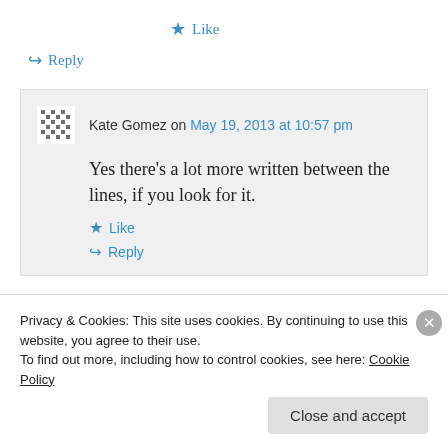★ Like
↪ Reply
Kate Gomez on May 19, 2013 at 10:57 pm
Yes there's a lot more written between the lines, if you look for it.
★ Like
↪ Reply
Privacy & Cookies: This site uses cookies. By continuing to use this website, you agree to their use.
To find out more, including how to control cookies, see here: Cookie Policy
Close and accept